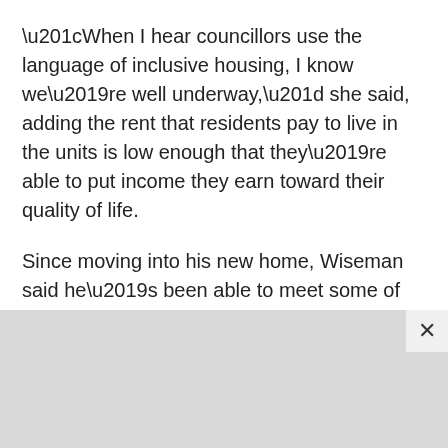“When I hear councillors use the language of inclusive housing, I know we’re well underway,” she said, adding the rent that residents pay to live in the units is low enough that they’re able to put income they earn toward their quality of life.
Since moving into his new home, Wiseman said he’s been able to meet some of his neighbours. He’s also improved many of his life skills, like managing his finances and broadening his cooking repertoire beyond Kraft Dinner to making lasagna, chilli and stir fry.